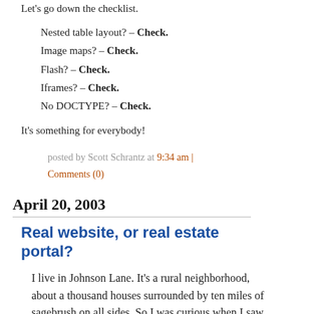Let's go down the checklist.
Nested table layout? – Check.
Image maps? – Check.
Flash? – Check.
Iframes? – Check.
No DOCTYPE? – Check.
It's something for everybody!
posted by Scott Schrantz at 9:34 am | Comments (0)
April 20, 2003
Real website, or real estate portal?
I live in Johnson Lane. It's a rural neighborhood, about a thousand houses surrounded by ten miles of sagebrush on all sides. So I was curious when I saw a blurb in the local paper advertising johnson-lane.com. "Visit your neighborhood online!" I wondered what it could possibly be like; most of the web design companies in this area still seem to be